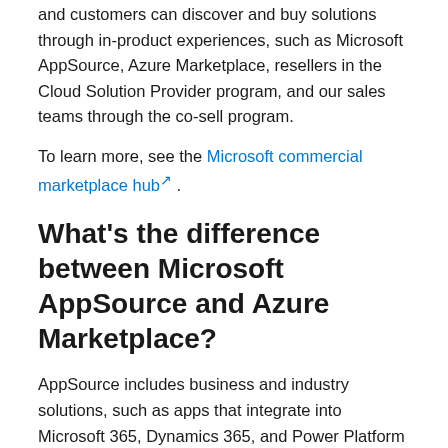and customers can discover and buy solutions through in-product experiences, such as Microsoft AppSource, Azure Marketplace, resellers in the Cloud Solution Provider program, and our sales teams through the co-sell program.
To learn more, see the Microsoft commercial marketplace hub.
What's the difference between Microsoft AppSource and Azure Marketplace?
AppSource includes business and industry solutions, such as apps that integrate into Microsoft 365, Dynamics 365, and Power Platform services.
Azure Marketplace includes IT and developer solutions that are built on Azure or used within Azure subscriptions